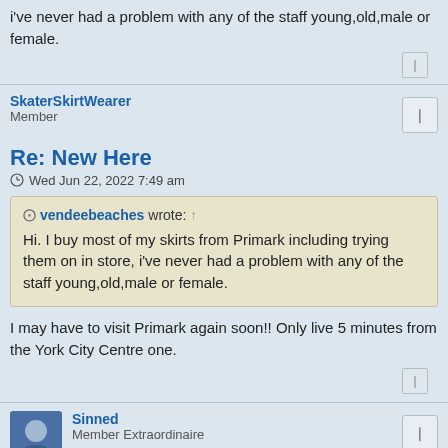i've never had a problem with any of the staff young,old,male or female.
SkaterSkirtWearer
Member
Re: New Here
Wed Jun 22, 2022 7:49 am
vendeebeaches wrote: Hi. I buy most of my skirts from Primark including trying them on in store, i've never had a problem with any of the staff young,old,male or female.
I may have to visit Primark again soon!! Only live 5 minutes from the York City Centre one.
Sinned
Member Extraordinaire
Re: New Here
Wed Jun 22, 2022 11:07 pm
Welcome SSW. I have bought skirts from Primark and if you see one that